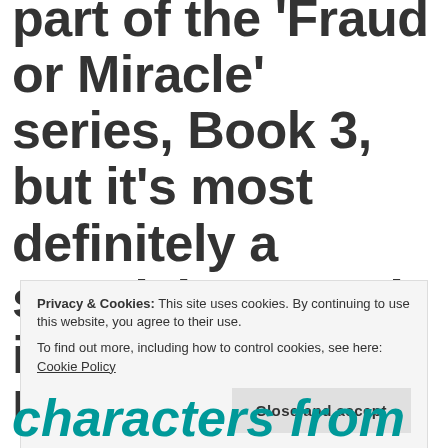part of the 'Fraud or Miracle' series, Book 3, but it's most definitely a standalone read in case you haven't read The Healer and The
Privacy & Cookies: This site uses cookies. By continuing to use this website, you agree to their use.
To find out more, including how to control cookies, see here: Cookie Policy
Close and accept
characters from both